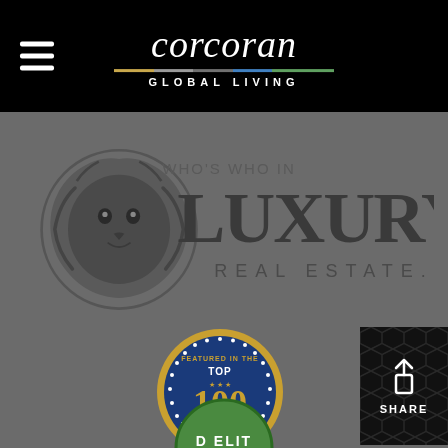[Figure (logo): Corcoran Global Living header logo with hamburger menu on black background. Corcoran in italic script, color bar beneath, GLOBAL LIVING in spaced caps.]
[Figure (logo): Who's Who in Luxury Real Estate lion logo with text 'WHO'S WHO IN LUXURY REAL ESTATE.' on grey background.]
[Figure (logo): Gold circular badge: 'FEATURED IN THE TOP 100 IN REAL ESTATE MAGAZINE' in blue and gold on dark blue background.]
[Figure (logo): Share button with upload arrow icon and SHARE text on dark patterned background.]
[Figure (logo): Partially visible green circular badge at bottom showing 'D ELIT' text, partially cropped.]